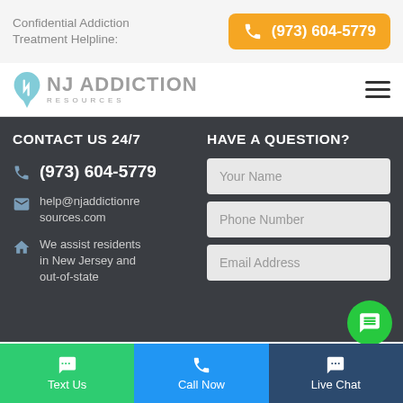Confidential Addiction Treatment Helpline:
(973) 604-5779
[Figure (logo): NJ Addiction Resources logo with NJ state shape icon and text]
CONTACT US 24/7
HAVE A QUESTION?
(973) 604-5779
help@njaddictionresources.com
We assist residents in New Jersey and out-of-state
Your Name
Phone Number
Email Address
Text Us
Call Now
Live Chat